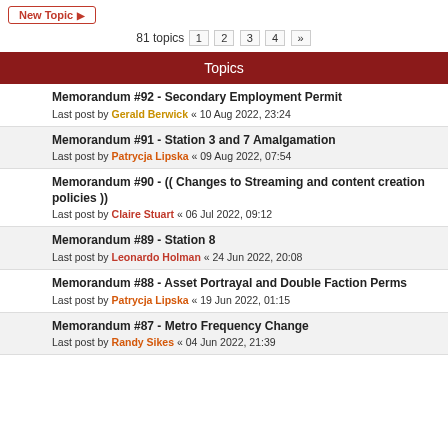New Topic
81 topics  1  2  3  4  »
Topics
Memorandum #92 - Secondary Employment Permit
Last post by Gerald Berwick « 10 Aug 2022, 23:24
Memorandum #91 - Station 3 and 7 Amalgamation
Last post by Patrycja Lipska « 09 Aug 2022, 07:54
Memorandum #90 - (( Changes to Streaming and content creation policies ))
Last post by Claire Stuart « 06 Jul 2022, 09:12
Memorandum #89 - Station 8
Last post by Leonardo Holman « 24 Jun 2022, 20:08
Memorandum #88 - Asset Portrayal and Double Faction Perms
Last post by Patrycja Lipska « 19 Jun 2022, 01:15
Memorandum #87 - Metro Frequency Change
Last post by Randy Sikes « 04 Jun 2022, 21:39